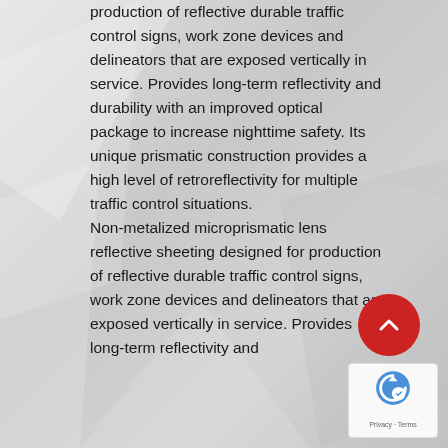production of reflective durable traffic control signs, work zone devices and delineators that are exposed vertically in service. Provides long-term reflectivity and durability with an improved optical package to increase nighttime safety. Its unique prismatic construction provides a high level of retroreflectivity for multiple traffic control situations.
Non-metalized microprismatic lens reflective sheeting designed for production of reflective durable traffic control signs, work zone devices and delineators that are exposed vertically in service. Provides long-term reflectivity and